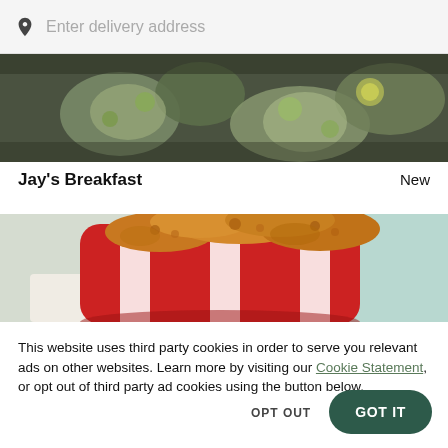Enter delivery address
[Figure (photo): Top-down photo of food dishes with green vegetables and sauces on a dark background]
Jay's Breakfast
New
[Figure (photo): Close-up photo of fried chicken pieces in a red and white KFC-style bucket on a teal background]
This website uses third party cookies in order to serve you relevant ads on other websites. Learn more by visiting our Cookie Statement, or opt out of third party ad cookies using the button below.
OPT OUT
GOT IT